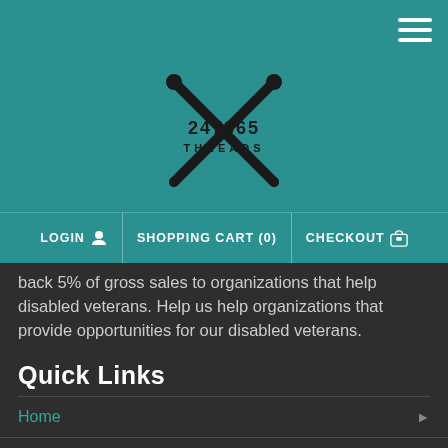247365 THREADS — navigation header with LOGIN, SHOPPING CART (0), CHECKOUT
back 5% of gross sales to organizations that help disabled veterans. Help us help organizations that provide opportunities for our disabled veterans.
Quick Links
Home
About Us
Contact us
Facebook Contest
(partial row at bottom)